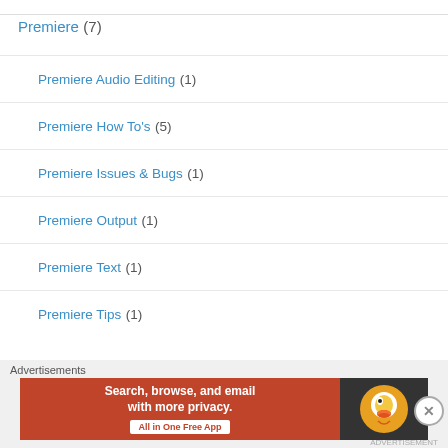Premiere (7)
Premiere Audio Editing (1)
Premiere How To's (5)
Premiere Issues & Bugs (1)
Premiere Output (1)
Premiere Text (1)
Premiere Tips (1)
[Figure (screenshot): DuckDuckGo advertisement banner: orange left panel with text 'Search, browse, and email with more privacy. All in One Free App', dark right panel with DuckDuckGo duck logo]